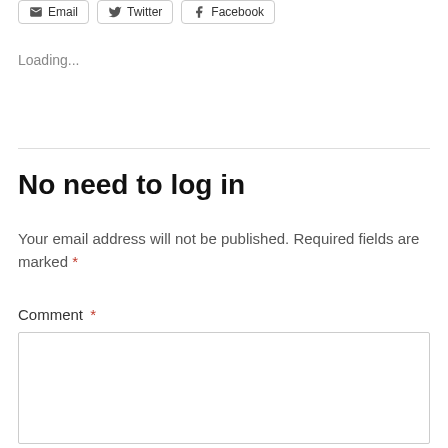[Figure (other): Share buttons row: Email, Twitter, Facebook]
Loading...
No need to log in
Your email address will not be published. Required fields are marked *
Comment *